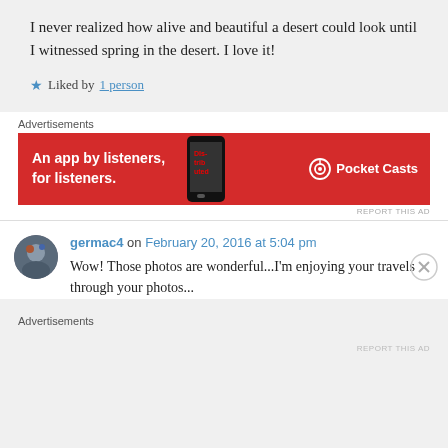I never realized how alive and beautiful a desert could look until I witnessed spring in the desert. I love it!
★ Liked by 1 person
Advertisements
[Figure (screenshot): Red advertisement banner for Pocket Casts: 'An app by listeners, for listeners.' with a phone image and Pocket Casts logo on right.]
REPORT THIS AD
germac4 on February 20, 2016 at 5:04 pm
Wow! Those photos are wonderful...I'm enjoying your travels through your photos...
Advertisements
REPORT THIS AD